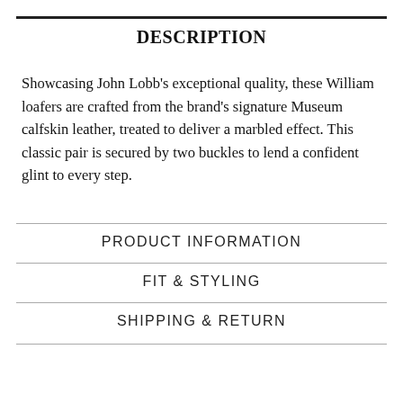DESCRIPTION
Showcasing John Lobb's exceptional quality, these William loafers are crafted from the brand's signature Museum calfskin leather, treated to deliver a marbled effect. This classic pair is secured by two buckles to lend a confident glint to every step.
PRODUCT INFORMATION
FIT & STYLING
SHIPPING & RETURN